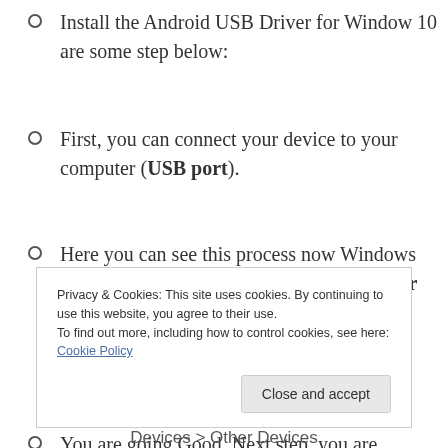Install the Android USB Driver for Window 10 are some step below:
First, you can connect your device to your computer (USB port).
Here you can see this process now Windows Explorer, then you can open the “Computer Management”.
You are going Good, Next step, you are
Privacy & Cookies: This site uses cookies. By continuing to use this website, you agree to their use.
To find out more, including how to control cookies, see here: Cookie Policy
Devices > Other Devices